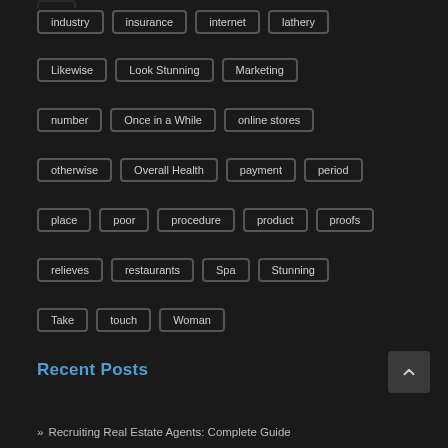industry
insurance
internet
lathery
Likewise
Look Stunning
Marketing
number
Once in a While
online stores
otherwise
Overall Health
payment
period
place
poor
procedure
product
proofs
relieves
restaurants
Spa
Stunning
Take
touch
Woman
Recent Posts
Recruiting Real Estate Agents: Complete Guide